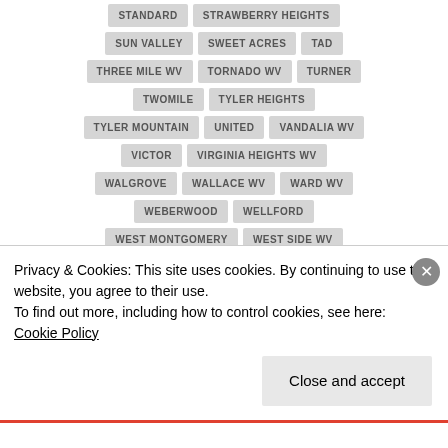STANDARD
STRAWBERRY HEIGHTS
SUN VALLEY
SWEET ACRES
TAD
THREE MILE WV
TORNADO WV
TURNER
TWOMILE
TYLER HEIGHTS
TYLER MOUNTAIN
UNITED
VANDALIA WV
VICTOR
VIRGINIA HEIGHTS WV
WALGROVE
WALLACE WV
WARD WV
WEBERWOOD
WELLFORD
WEST MONTGOMERY
WEST SIDE WV
WEVACO
WHITE CHAPEL
WHITTAKER
WILLS
WILSON
WINIFREDE
Privacy & Cookies: This site uses cookies. By continuing to use this website, you agree to their use.
To find out more, including how to control cookies, see here: Cookie Policy